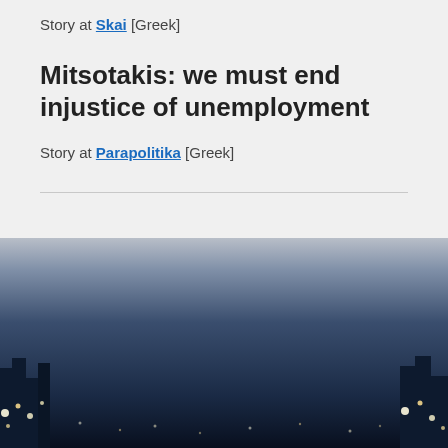Story at Skai [Greek]
Mitsotakis: we must end injustice of unemployment
Story at Parapolitika [Greek]
[Figure (photo): Night cityscape background image showing city lights against a dark sky, visible at the bottom portion of the page behind the content panel.]